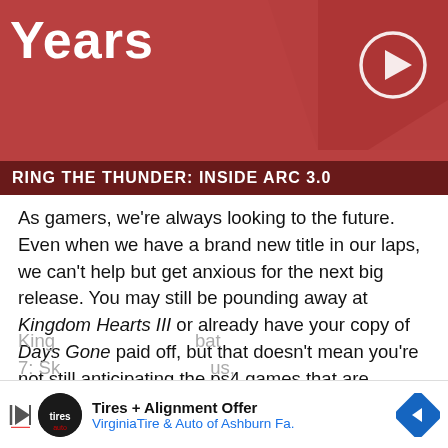[Figure (screenshot): Video thumbnail with red background showing 'Years' title text, arrow/chevron shapes, play button circle icon, and subtitle bar reading 'RING THE THUNDER: INSIDE ARC 3.0']
As gamers, we're always looking to the future. Even when we have a brand new title in our laps, we can't help but get anxious for the next big release. You may still be pounding away at Kingdom Hearts III or already have your copy of Days Gone paid off, but that doesn't mean you're not still anticipating the ps4 games that are coming soon.
2018 was a great year for Sony's console and 2019 is shaping up to be a good follow-up. With
King... bat 7: Sk... us,
[Figure (other): Advertisement banner: Tires + Alignment Offer — Virginia Tire & Auto of Ashburn Fa. with logo and blue diamond arrow icon]